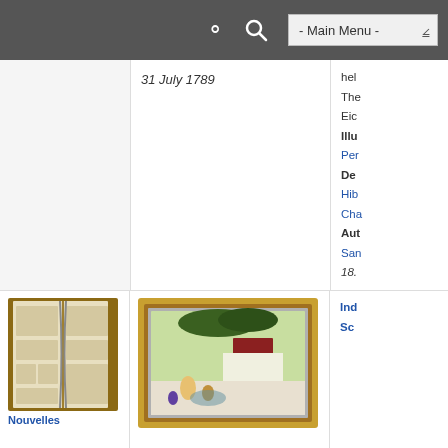- Main Menu -
31 July 1789
hel
The
Eic
Illu
Per
De
Hib
Cha
Aut
San
18.
[Figure (photo): Open book showing engraved illustrations of vessels and scientific instruments]
Nouvelles
[Figure (photo): Framed Indian miniature painting showing figures in a courtyard with a building and trees]
Ind
Sc